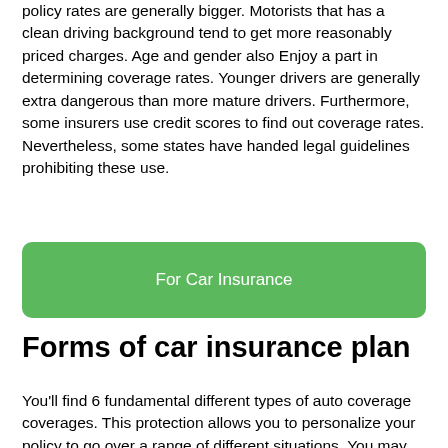policy rates are generally bigger. Motorists that has a clean driving background tend to get more reasonably priced charges. Age and gender also Enjoy a part in determining coverage rates. Younger drivers are generally extra dangerous than more mature drivers. Furthermore, some insurers use credit scores to find out coverage rates. Nevertheless, some states have handed legal guidelines prohibiting these use.
[Figure (other): Green button labeled 'For Car Insurance']
Forms of car insurance plan
You'll find 6 fundamental different types of auto coverage coverages. This protection allows you to personalize your policy to go over a range of different situations. You may